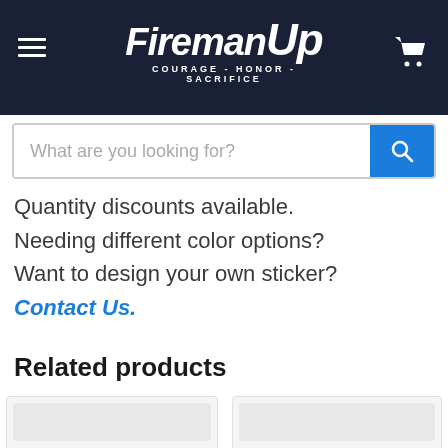FiremanUp COURAGE - HONOR - SACRIFICE
What are you looking for?
Quantity discounts available.
Needing different color options?
Want to design your own sticker?
Contact Us.
Related products